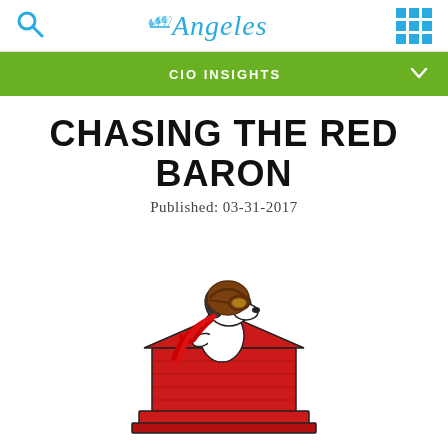Angeles
CIO INSIGHTS
CHASING THE RED BARON
Published: 03-31-2017
[Figure (illustration): Snoopy dressed as WWI aviator pilot with brown leather helmet and red scarf, sitting on top of a red doghouse]
Your audience attention span is probably already short, and it seems...